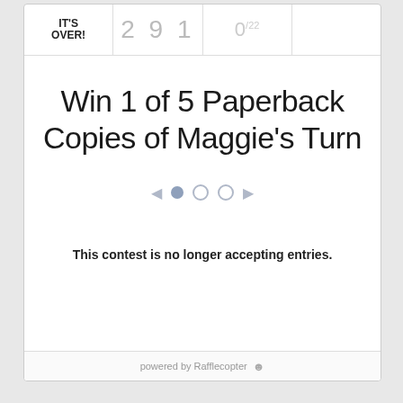IT'S OVER! | 291 | 0/22
Win 1 of 5 Paperback Copies of Maggie's Turn
[Figure (other): Carousel navigation: left arrow, filled dot, empty circle, empty circle, right arrow]
This contest is no longer accepting entries.
powered by Rafflecopter